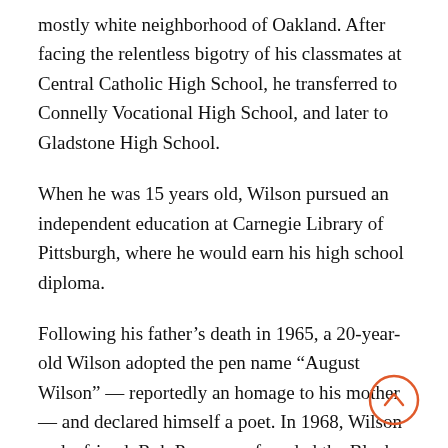mostly white neighborhood of Oakland. After facing the relentless bigotry of his classmates at Central Catholic High School, he transferred to Connelly Vocational High School, and later to Gladstone High School.
When he was 15 years old, Wilson pursued an independent education at Carnegie Library of Pittsburgh, where he would earn his high school diploma.
Following his father’s death in 1965, a 20-year-old Wilson adopted the pen name “August Wilson” — reportedly an homage to his mother — and declared himself a poet. In 1968, Wilson and a friend, Rob Penny, co-founded the Black Horizon Theater.